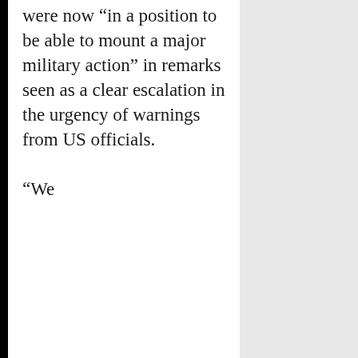were now “in a position to be able to mount a major military action” in remarks seen as a clear escalation in the urgency of warnings from US officials. “We